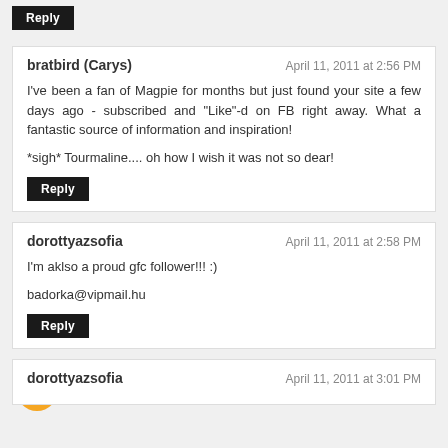Reply
bratbird (Carys)
April 11, 2011 at 2:56 PM
I've been a fan of Magpie for months but just found your site a few days ago - subscribed and "Like"-d on FB right away. What a fantastic source of information and inspiration!
*sigh* Tourmaline.... oh how I wish it was not so dear!
Reply
dorottyazsofia
April 11, 2011 at 2:58 PM
I'm aklso a proud gfc follower!!! :)
badorka@vipmail.hu
Reply
dorottyazsofia
April 11, 2011 at 3:01 PM